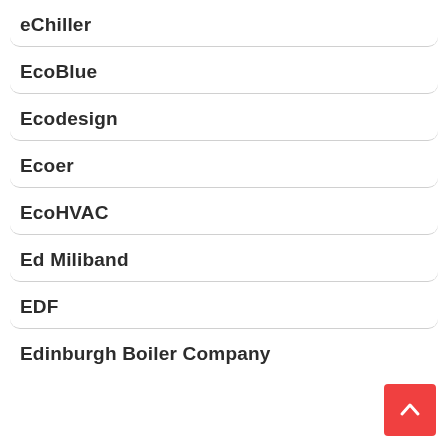eChiller
EcoBlue
Ecodesign
Ecoer
EcoHVAC
Ed Miliband
EDF
Edinburgh Boiler Company